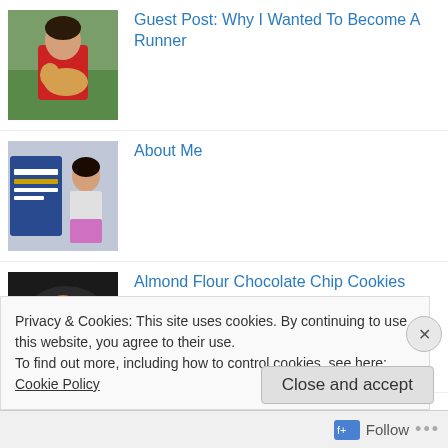[Figure (photo): Thumbnail photo of a person in a red jacket holding a dog outdoors]
Guest Post: Why I Wanted To Become A Runner
[Figure (photo): Thumbnail photo of a woman standing next to a golden spike sign]
About Me
[Figure (photo): Thumbnail photo of almond flour chocolate chip cookies on a plate]
Almond Flour Chocolate Chip Cookies
Privacy & Cookies: This site uses cookies. By continuing to use this website, you agree to their use.
To find out more, including how to control cookies, see here: Cookie Policy
Close and accept
Follow